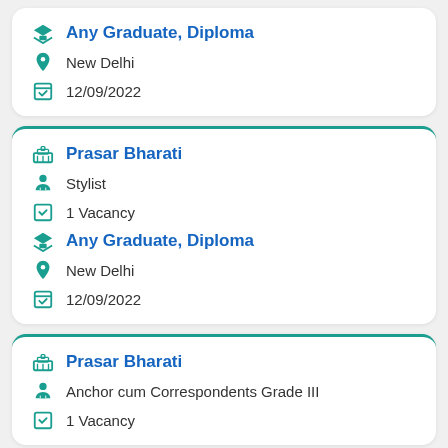Any Graduate, Diploma
New Delhi
12/09/2022
Prasar Bharati
Stylist
1 Vacancy
Any Graduate, Diploma
New Delhi
12/09/2022
Prasar Bharati
Anchor cum Correspondents Grade III
1 Vacancy